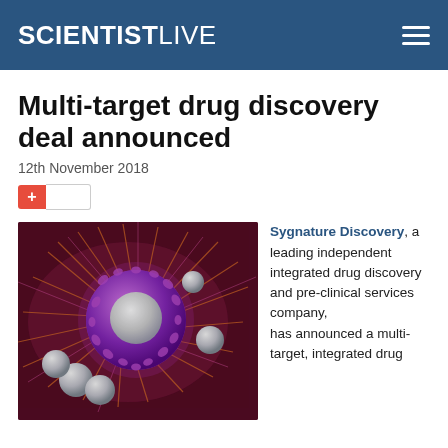SCIENTISTLIVE
Multi-target drug discovery deal announced
12th November 2018
[Figure (illustration): 3D illustration of a cancer cell with a large central purple/violet spiky sphere surrounded by smaller grey spherical cells on a dark red background]
Sygnature Discovery, a leading independent integrated drug discovery and pre-clinical services company, has announced a multi-target, integrated drug